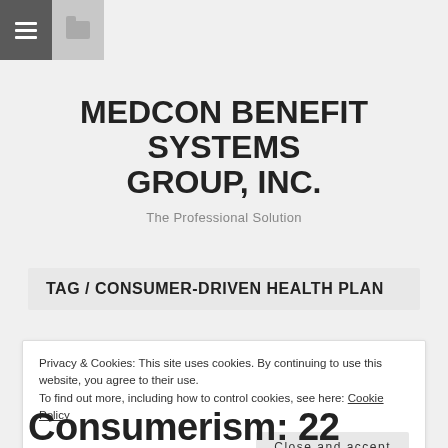MEDCON BENEFIT SYSTEMS GROUP, INC. — The Professional Solution
MEDCON BENEFIT SYSTEMS GROUP, INC.
The Professional Solution
TAG / CONSUMER-DRIVEN HEALTH PLAN
Privacy & Cookies: This site uses cookies. By continuing to use this website, you agree to their use.
To find out more, including how to control cookies, see here: Cookie Policy
Close and accept
Consumerism: 22